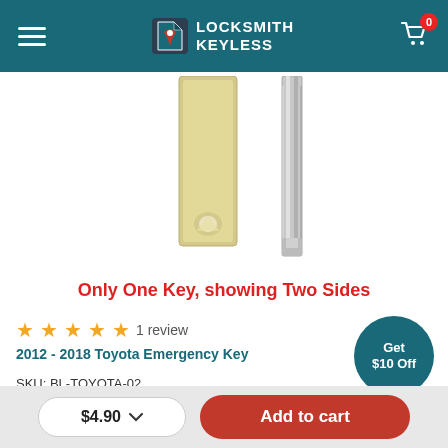Locksmith Keyless
[Figure (photo): Two sides of a Toyota emergency key blade shown side by side against a white background — left side shows the flat face (gold/brass colored), right side shows the edge profile (silver colored).]
Only One Key, showing Two Sides
★★★★★  1 review
2012 - 2018 Toyota Emergency Key
SKU: BL-TOYOTA-02
$1.99  $2.59
[Figure (infographic): Teal circular badge with text 'Get $10 Off']
[Figure (infographic): Teal circle outline chat icon button]
$4.90 ∨    Add to cart